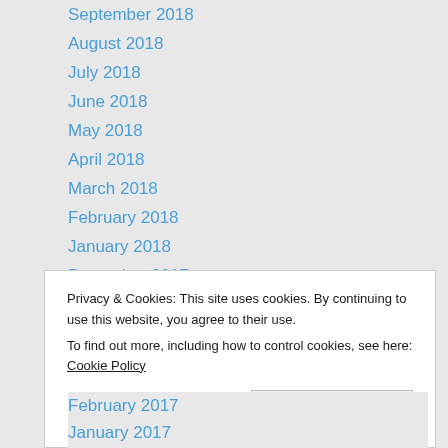September 2018
August 2018
July 2018
June 2018
May 2018
April 2018
March 2018
February 2018
January 2018
December 2017
November 2017
October 2017
September 2017
August 2017
Privacy & Cookies: This site uses cookies. By continuing to use this website, you agree to their use.
To find out more, including how to control cookies, see here: Cookie Policy
February 2017
January 2017